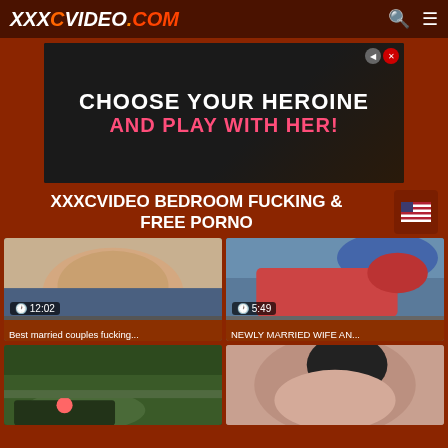XXXCVIDEO.COM
[Figure (screenshot): Advertisement banner: CHOOSE YOUR HEROINE AND PLAY WITH HER!]
XXXCVIDEO BEDROOM FUCKING & FREE PORNO
[Figure (photo): Video thumbnail - Best married couples fucking... duration 12:02]
[Figure (photo): Video thumbnail - NEWLY MARRIED WIFE AN... duration 5:49]
[Figure (photo): Video thumbnail - outdoor scene, no duration shown]
[Figure (photo): Video thumbnail - close-up face, no duration shown]